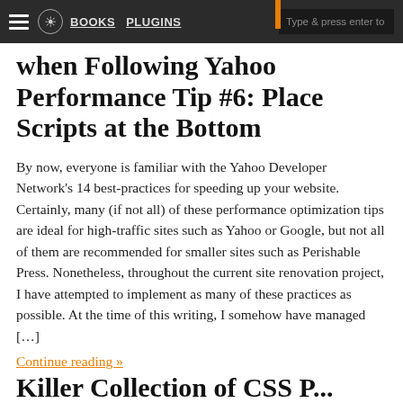BOOKS  PLUGINS  Type & press enter to
when Following Yahoo Performance Tip #6: Place Scripts at the Bottom
By now, everyone is familiar with the Yahoo Developer Network's 14 best-practices for speeding up your website. Certainly, many (if not all) of these performance optimization tips are ideal for high-traffic sites such as Yahoo or Google, but not all of them are recommended for smaller sites such as Perishable Press. Nonetheless, throughout the current site renovation project, I have attempted to implement as many of these practices as possible. At the time of this writing, I somehow have managed […]
Continue reading »
Killer Collection of CSS P...